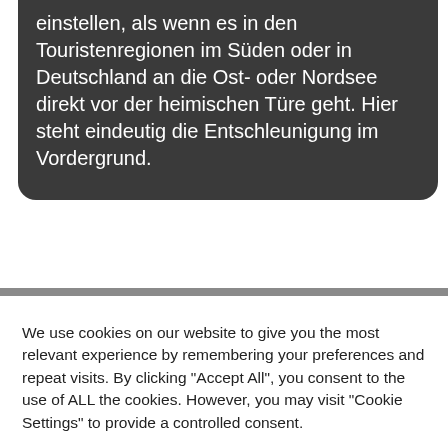einstellen, als wenn es in den Touristenregionen im Süden oder in Deutschland an die Ost- oder Nordsee direkt vor der heimischen Türe geht. Hier steht eindeutig die Entschleunigung im Vordergrund.
We use cookies on our website to give you the most relevant experience by remembering your preferences and repeat visits. By clicking "Accept All", you consent to the use of ALL the cookies. However, you may visit "Cookie Settings" to provide a controlled consent.
Cookie Settings
Accept All
Translate »